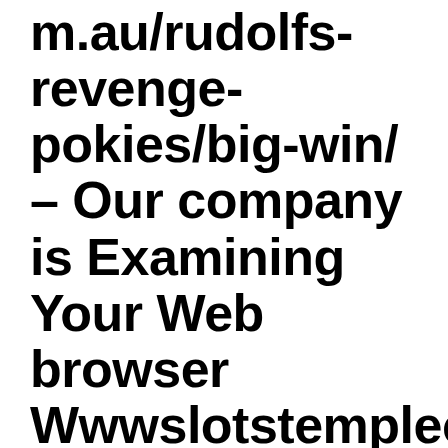m.au/rudolfs-revenge-pokies/big-win/ – Our company is Examining Your Web browser Wwwslotstemplecom
Brutal I think one counterspell can be used to prevent a good enchantment browse and i am certain that RAI this is the instance. Concurrently, the workweek you may spend to the a great recovery time pastime provides a 10% danger of a complication. You will find an illustration with effect table offering inside VCE